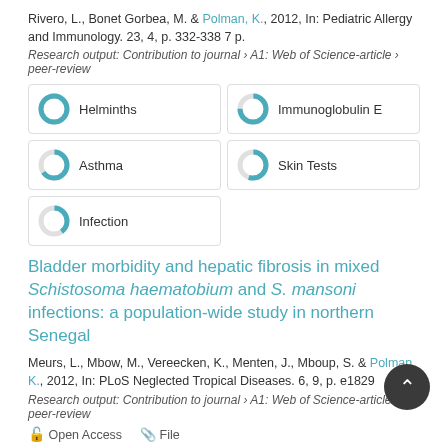Rivero, L., Bonet Gorbea, M. & Polman, K., 2012, In: Pediatric Allergy and Immunology. 23, 4, p. 332-338 7 p.
Research output: Contribution to journal › A1: Web of Science-article › peer-review
[Figure (infographic): Keyword badges with donut chart icons showing percentage fill: Helminths (100%), Immunoglobulin E (75%), Asthma (65%), Skin Tests (55%), Infection (40%)]
Bladder morbidity and hepatic fibrosis in mixed Schistosoma haematobium and S. mansoni infections: a population-wide study in northern Senegal
Meurs, L., Mbow, M., Vereecken, K., Menten, J., Mboup, S. & Polman, K., 2012, In: PLoS Neglected Tropical Diseases. 6, 9, p. e1829
Research output: Contribution to journal › A1: Web of Science-article › peer-review
Open Access   File
[Figure (infographic): Keyword badges with donut chart icons: Schistosoma Haematobium (100%), Senegal (60%)]